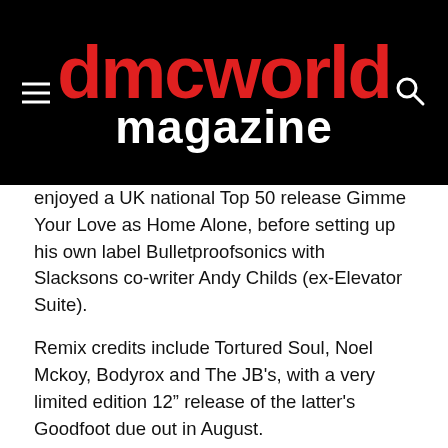dmcworld magazine
enjoyed a UK national Top 50 release Gimme Your Love as Home Alone, before setting up his own label Bulletproofsonics with Slacksons co-writer Andy Childs (ex-Elevator Suite).
Remix credits include Tortured Soul, Noel Mckoy, Bodyrox and The JB's, with a very limited edition 12" release of the latter's Goodfoot due out in August.
Those much-anticipated Odyssey remixes will be available at the beginning of the September, as part of the group's next single package, while Bulletproofsonics embark on a hectic autumn/winter schedule of at least one release a month.
Also look out for an album project release with Bristol-based rapper Mc Frilla, famed for his Statix crew, also a Best of Bulletproofsonics